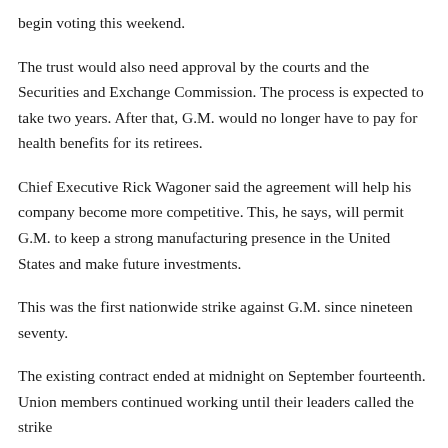begin voting this weekend.
The trust would also need approval by the courts and the Securities and Exchange Commission. The process is expected to take two years. After that, G.M. would no longer have to pay for health benefits for its retirees.
Chief Executive Rick Wagoner said the agreement will help his company become more competitive. This, he says, will permit G.M. to keep a strong manufacturing presence in the United States and make future investments.
This was the first nationwide strike against G.M. since nineteen seventy.
The existing contract ended at midnight on September fourteenth. Union members continued working until their leaders called the strike